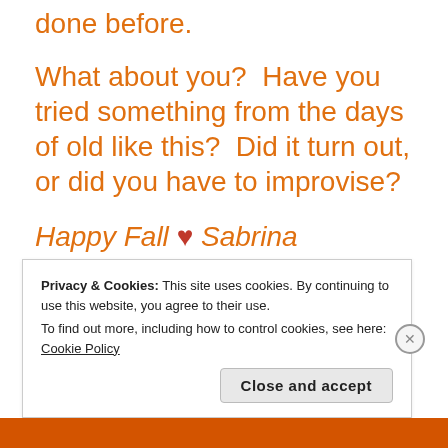done before.
What about you?  Have you tried something from the days of old like this?  Did it turn out, or did you have to improvise?
Happy Fall ♥ Sabrina
Privacy & Cookies: This site uses cookies. By continuing to use this website, you agree to their use.
To find out more, including how to control cookies, see here: Cookie Policy
Close and accept